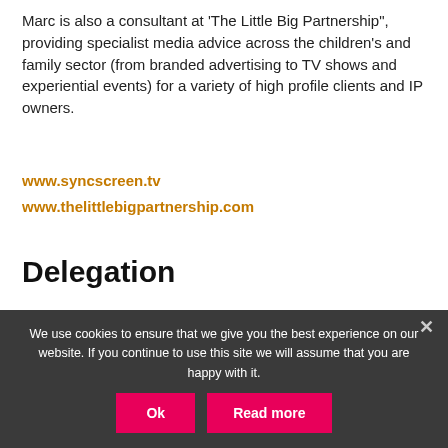Marc is also a consultant at 'The Little Big Partnership", providing specialist media advice across the children's and family sector (from branded advertising to TV shows and experiential events) for a variety of high profile clients and IP owners.
www.syncscreen.tv
www.thelittlebigpartnership.com
Delegation
CMC 2022 Patron Sponsors
We use cookies to ensure that we give you the best experience on our website. If you continue to use this site we will assume that you are happy with it.